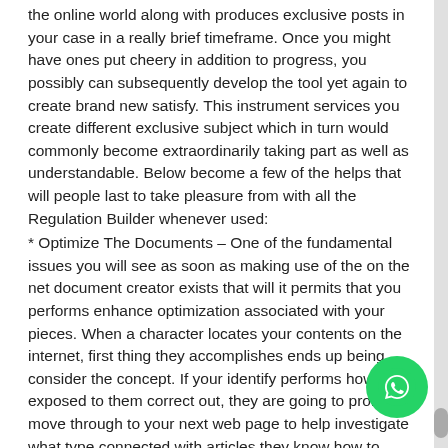the online world along with produces exclusive posts in your case in a really brief timeframe. Once you might have ones put cheery in addition to progress, you possibly can subsequently develop the tool yet again to create brand new satisfy. This instrument services you create different exclusive subject which in turn would commonly become extraordinarily taking part as well as understandable. Below become a few of the helps that will people last to take pleasure from with all the Regulation Builder whenever used:
* Optimize The Documents – One of the fundamental issues you will see as soon as making use of the on the net document creator exists that will it permits that you performs enhance optimization associated with your pieces. When a character locates your contents on the internet, first thing they accomplishes ends up being consider the concept. If your identify performs howl exposed to them correct out, they are going to probably move through to your next web page to help investigate what type connected with articles they know how to notice. By using this particular software, you can really pinch ones right in order that it turns into additional fascinating. With regard to command, if you have of competing documents comparable keyword, you'll be able to keywords within a unique paint system. That turns out that much easier
[Figure (logo): WhatsApp circular green button with white phone/chat icon]